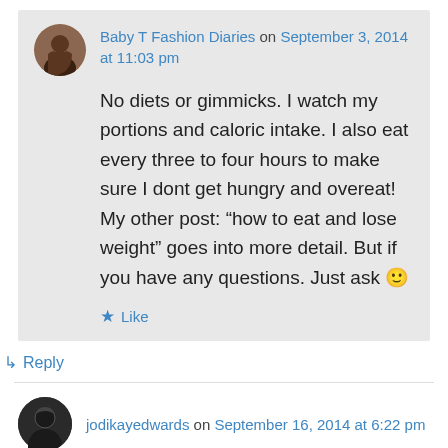Baby T Fashion Diaries on September 3, 2014 at 11:03 pm
No diets or gimmicks. I watch my portions and caloric intake. I also eat every three to four hours to make sure I dont get hungry and overeat! My other post: “how to eat and lose weight” goes into more detail. But if you have any questions. Just ask 🙂
★ Like
↳ Reply
jodikayedwards on September 16, 2014 at 6:22 pm
You look great doll! 4lbs is an amazing accomplishment! I’ve been starting to make